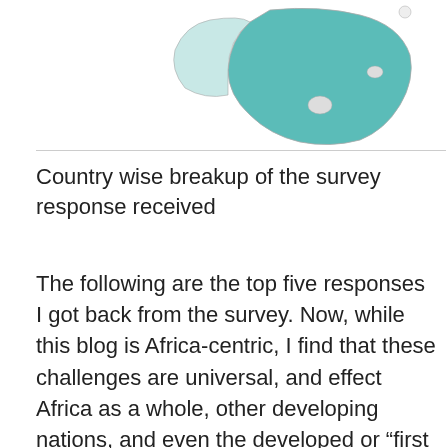[Figure (map): Partial map of southern Africa region with teal/green highlighted areas indicating survey responses, visible in the upper portion of the page]
Country wise breakup of the survey response received
The following are the top five responses I got back from the survey. Now, while this blog is Africa-centric, I find that these challenges are universal, and effect Africa as a whole, other developing nations, and even the developed or “first world” nations to some degree.